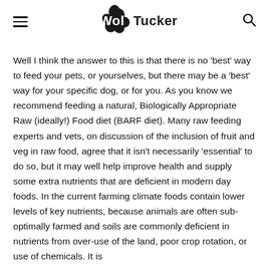Wolf Tucker [logo]
Well I think the answer to this is that there is no 'best' way to feed your pets, or yourselves, but there may be a 'best' way for your specific dog, or for you. As you know we recommend feeding a natural, Biologically Appropriate Raw (ideally!) Food diet (BARF diet). Many raw feeding experts and vets, on discussion of the inclusion of fruit and veg in raw food, agree that it isn't necessarily 'essential' to do so, but it may well help improve health and supply some extra nutrients that are deficient in modern day foods. In the current farming climate foods contain lower levels of key nutrients, because animals are often sub-optimally farmed and soils are commonly deficient in nutrients from over-use of the land, poor crop rotation, or use of chemicals. It is